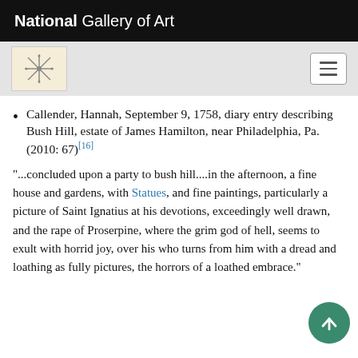National Gallery of Art
Callender, Hannah, September 9, 1758, diary entry describing Bush Hill, estate of James Hamilton, near Philadelphia, Pa. (2010: 67)[16]
"...concluded upon a party to bush hill....in the afternoon, a fine house and gardens, with Statues, and fine paintings, particularly a picture of Saint Ignatius at his devotions, exceedingly well drawn, and the rape of Proserpine, where the grim god of hell, seems to exult with horrid joy, over his who turns from him with a dread and loathing as fully pictures, the horrors of a loathed embrace."